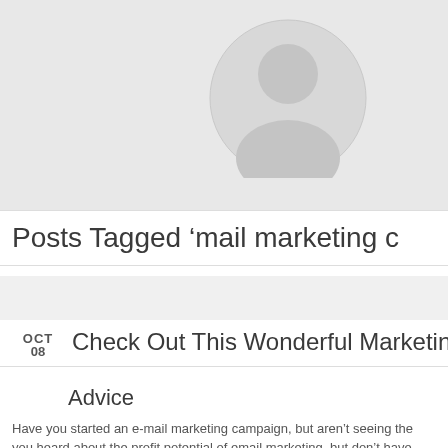[Figure (illustration): Gray background hero section with a circular avatar placeholder graphic (light gray circle/profile icon)]
Posts Tagged 'mail marketing c…'
Check Out This Wonderful Marketing ... Advice
Have you started an e-mail marketing campaign, but aren't seeing the… you heard about the profit potential of email marketing, but don't have…